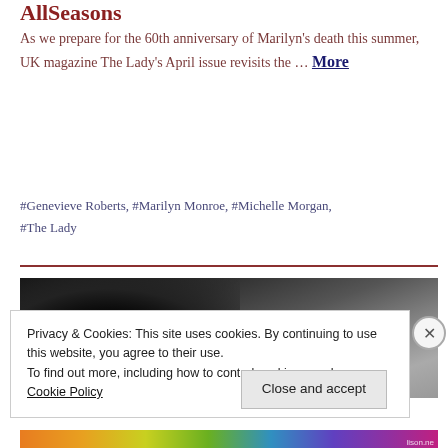AllSeasons
As we prepare for the 60th anniversary of Marilyn's death this summer, UK magazine The Lady's April issue revisits the ... More
#Genevieve Roberts, #Marilyn Monroe, #Michelle Morgan, #The Lady
[Figure (photo): Black and white photograph, partially visible, showing a dark silhouette shape against a lighter grey background]
Privacy & Cookies: This site uses cookies. By continuing to use this website, you agree to their use.
To find out more, including how to control cookies, see here: Cookie Policy
Close and accept